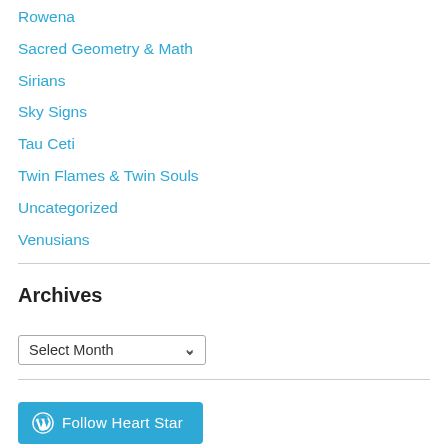Rowena
Sacred Geometry & Math
Sirians
Sky Signs
Tau Ceti
Twin Flames & Twin Souls
Uncategorized
Venusians
Archives
Select Month (dropdown)
[Figure (other): Follow Heart Star button with WordPress icon]
Meta